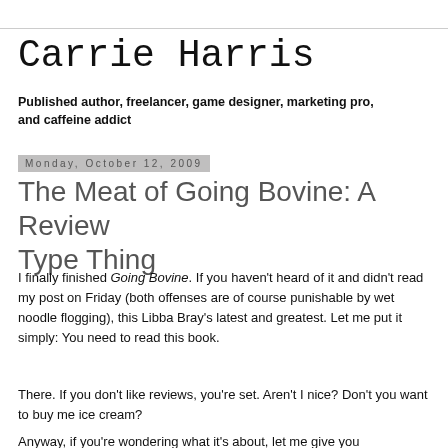Carrie Harris
Published author, freelancer, game designer, marketing pro, and caffeine addict
Monday, October 12, 2009
The Meat of Going Bovine: A Review Type Thing
I finally finished Going Bovine. If you haven't heard of it and didn't read my post on Friday (both offenses are of course punishable by wet noodle flogging), this Libba Bray's latest and greatest. Let me put it simply: You need to read this book.
There. If you don't like reviews, you're set. Aren't I nice? Don't you want to buy me ice cream?
Anyway, if you're wondering what it's about, let me give you